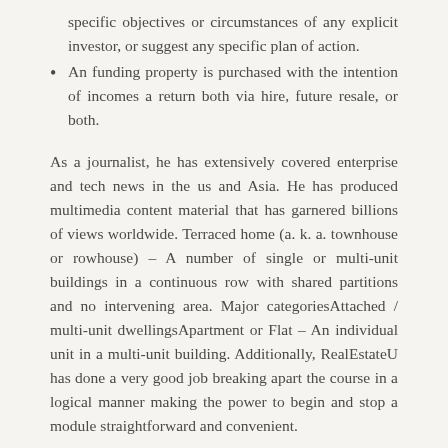specific objectives or circumstances of any explicit investor, or suggest any specific plan of action.
An funding property is purchased with the intention of incomes a return both via hire, future resale, or both.
As a journalist, he has extensively covered enterprise and tech news in the us and Asia. He has produced multimedia content material that has garnered billions of views worldwide. Terraced home (a. k. a. townhouse or rowhouse) – A number of single or multi-unit buildings in a continuous row with shared partitions and no intervening area. Major categoriesAttached / multi-unit dwellingsApartment or Flat – An individual unit in a multi-unit building. Additionally, RealEstateU has done a very good job breaking apart the course in a logical manner making the power to begin and stop a module straightforward and convenient.
You'll find themes that are perfect for presenting only one house or building in its very best gentle. They'll